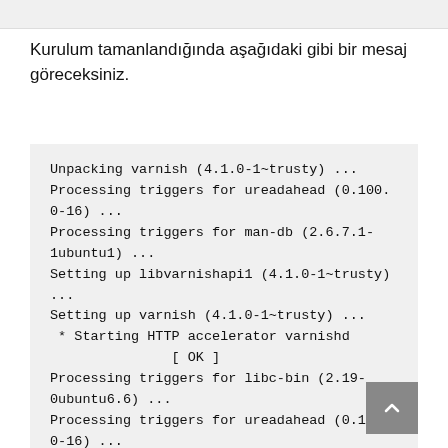Kurulum tamanlandığında aşağıdaki gibi bir mesaj göreceksiniz.
[Figure (screenshot): Terminal output showing installation messages for varnish package including unpacking, processing triggers, setting up libvarnishapi1 and varnish, starting HTTP accelerator varnishd with OK status, and processing triggers for libc-bin and ureadahead.]